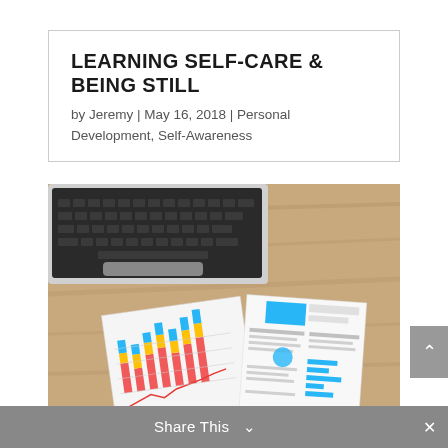LEARNING SELF-CARE & BEING STILL
by Jeremy | May 16, 2018 | Personal Development, Self-Awareness
[Figure (photo): Overhead photo of a laptop, business charts with colorful bar graphs and line graphs, and a document/resume on a wooden desk]
Share This ∨   ✕